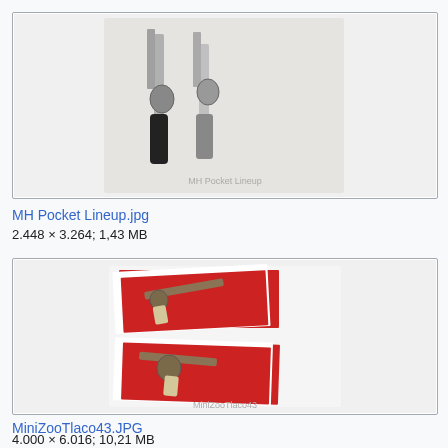[Figure (photo): Two antique revolvers laid side by side on a white surface, photographed from above.]
MH Pocket Lineup.jpg
2.448 × 3.264; 1,43 MB
[Figure (photo): Two miniature toy or decorative revolvers displayed on red card inserts, photographed from above.]
MiniZooTlaco43.JPG
4.000 × 6.016; 10,21 MB